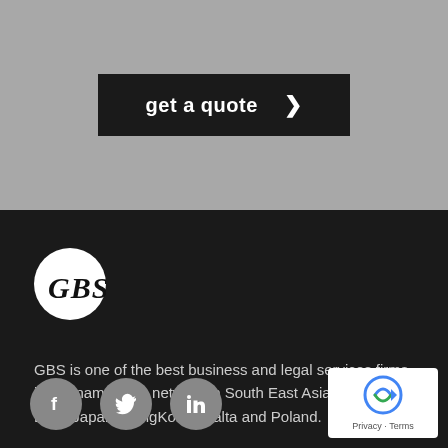[Figure (other): Dark button with text 'get a quote >' on a grey background]
[Figure (logo): GBS logo: white circle with italic bold black text 'GBS']
GBS is one of the best business and legal services firms in Vietnam with a network in South East Asia, Middle East, Japan, HongKong, Malta and Poland.
[Figure (other): Social media icons: Facebook, Twitter, LinkedIn on dark background]
[Figure (other): reCAPTCHA badge with Privacy - Terms text]